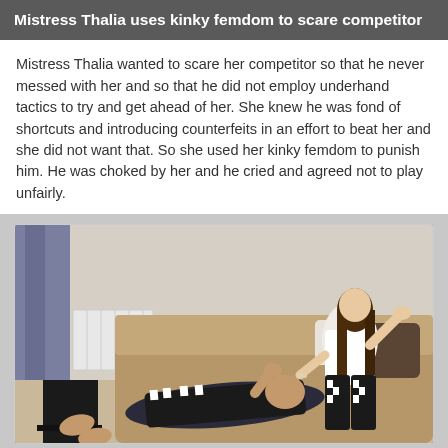Mistress Thalia uses kinky femdom to scare competitor
Mistress Thalia wanted to scare her competitor so that he never messed with her and so that he did not employ underhand tactics to try and get ahead of her. She knew he was fond of shortcuts and introducing counterfeits in an effort to beat her and she did not want that. So she used her kinky femdom to punish him. He was choked by her and he cried and agreed not to play unfairly.
[Figure (photo): A woman in a white top and black-and-white patterned leggings sitting on a sofa with a man lying across her lap on the floor, in a living room setting.]